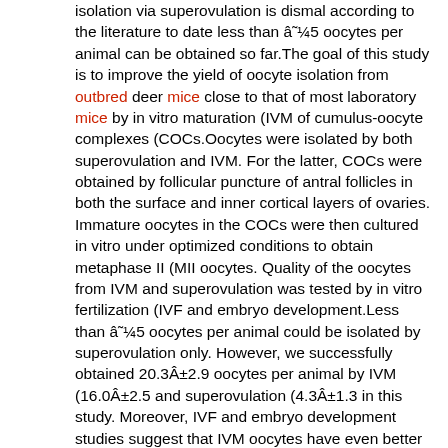isolation via superovulation is dismal according to the literature to date less than â¾5 oocytes per animal can be obtained so far.The goal of this study is to improve the yield of oocyte isolation from outbred deer mice close to that of most laboratory mice by in vitro maturation (IVM of cumulus-oocyte complexes (COCs.Oocytes were isolated by both superovulation and IVM. For the latter, COCs were obtained by follicular puncture of antral follicles in both the surface and inner cortical layers of ovaries. Immature oocytes in the COCs were then cultured in vitro under optimized conditions to obtain metaphase II (MII oocytes. Quality of the oocytes from IVM and superovulation was tested by in vitro fertilization (IVF and embryo development.Less than â¾5 oocytes per animal could be isolated by superovulation only. However, we successfully obtained 20.3Â±2.9 oocytes per animal by IVM (16.0Â±2.5 and superovulation (4.3Â±1.3 in this study. Moreover, IVF and embryo development studies suggest that IVM oocytes have even better quality than that from superovulation The latter never developed to beyond 2-cell stage as usual while 9% of the former developed to 4-cells.We have successfully established the protocol for isolating oocytes from deer mice with high yield by IVM. Moreover, this is the first ever success to develop in vitro fertilized deer mice oocytes beyond the 2-cell